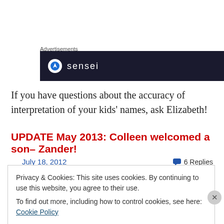Advertisements
[Figure (screenshot): Dark advertisement banner with a circular white icon and 'sensei' text in white on dark background]
If you have questions about the accuracy of interpretation of your kids’ names, ask Elizabeth!
UPDATE May 2013:  Colleen welcomed a son– Zander!
July 18, 2012
6 Replies
Privacy & Cookies: This site uses cookies. By continuing to use this website, you agree to their use.
To find out more, including how to control cookies, see here: Cookie Policy